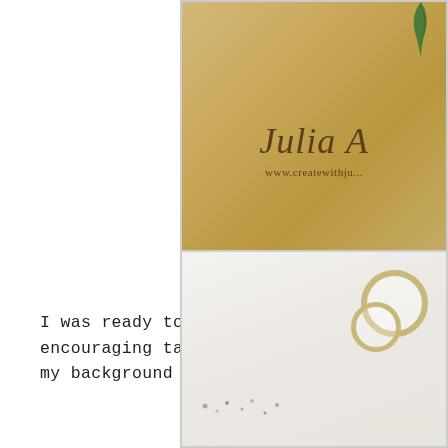[Figure (photo): Photo of a wooden surface with a logo reading 'Julia A' and 'www.createwithjulia...' with a green plant visible at top right]
I was ready to move past the holiday... encouraging tag with a sentiment stam... my background using the 'Cling Wrap Te...
[Figure (photo): Photo of a light/white surface with gold tape rolls and small sparkle/dot decorations]